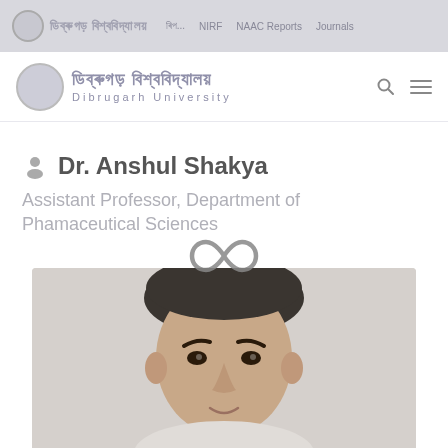ডিব্ৰুগড় বিশ্ববিদ্যালয় | Dibrugarh University — top navigation bar with links
[Figure (logo): Dibrugarh University logo with circular emblem and Assamese/English text]
Dr. Anshul Shakya
Assistant Professor, Department of Phamaceutical Sciences
[Figure (photo): Photograph of Dr. Anshul Shakya, partially loaded with an infinity/loading symbol overlay]